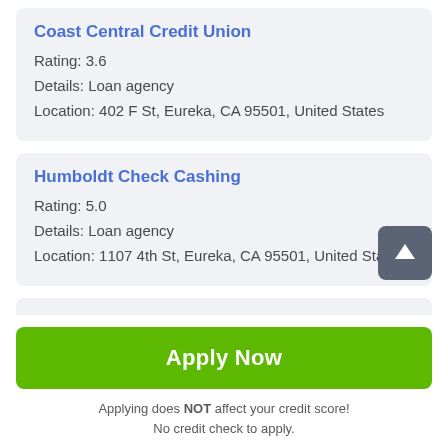Coast Central Credit Union
Rating: 3.6
Details: Loan agency
Location: 402 F St, Eureka, CA 95501, United States
Humboldt Check Cashing
Rating: 5.0
Details: Loan agency
Location: 1107 4th St, Eureka, CA 95501, United States
Northern Redwood Federal CU (partial)
Apply Now
Applying does NOT affect your credit score!
No credit check to apply.